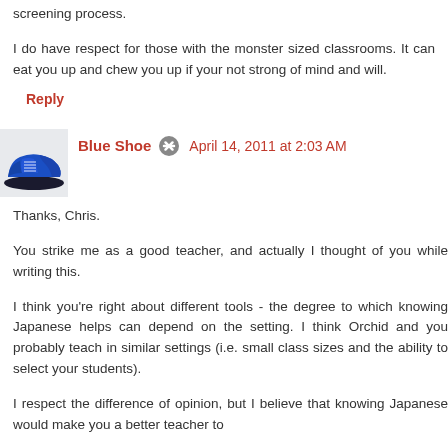screening process.
I do have respect for those with the monster sized classrooms. It can eat you up and chew you up if your not strong of mind and will.
Reply
[Figure (photo): Avatar image of a blue shoe (blue suede oxford shoe)]
Blue Shoe  April 14, 2011 at 2:03 AM
Thanks, Chris.
You strike me as a good teacher, and actually I thought of you while writing this.
I think you're right about different tools - the degree to which knowing Japanese helps can depend on the setting. I think Orchid and you probably teach in similar settings (i.e. small class sizes and the ability to select your students).
I respect the difference of opinion, but I believe that knowing Japanese would make you a better teacher to...